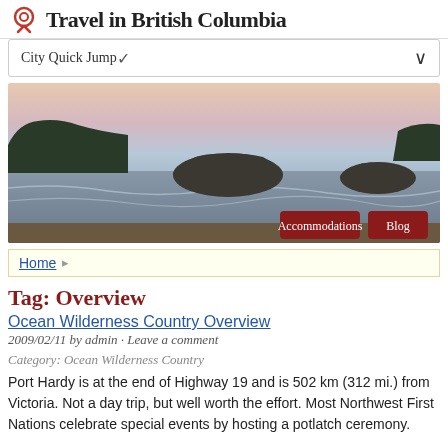Travel in British Columbia
City Quick Jump
[Figure (photo): Coastal ocean scene at dusk with rocky outcrops, waves, and forested silhouettes in the background. Two navigation buttons labeled 'Accommodations' and 'Blog' overlay the bottom right.]
Home
Tag: Overview
Ocean Wilderness Country Overview
2009/02/11 by admin · Leave a comment
Category: Ocean Wilderness Country
Port Hardy is at the end of Highway 19 and is 502 km (312 mi.) from Victoria. Not a day trip, but well worth the effort. Most Northwest First Nations celebrate special events by hosting a potlatch ceremony.